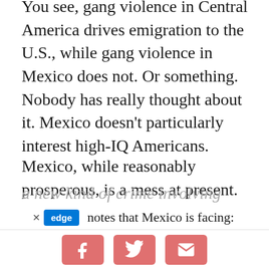You see, gang violence in Central America drives emigration to the U.S., while gang violence in Mexico does not. Or something. Nobody has really thought about it. Mexico doesn't particularly interest high-IQ Americans.
Mexico, while reasonably prosperous, is a mess at present. As in some of the Central American banana republics, such as Honduras, the legitimacy of the government to fight crime is in doubt. Many in Mexico see the government as merely another cartel, albeit one with classier s… notes that Mexico is facing:
a new kind of crime involving whole